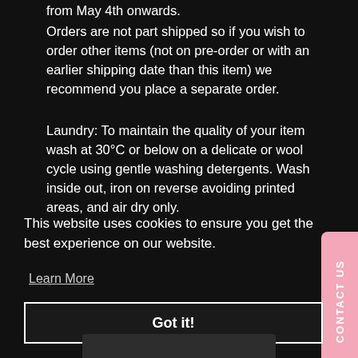from May 4th onwards.
Orders are not part shipped so if you wish to order other items (not on pre-order or with an earlier shipping date than this item) we recommend you place a separate order.
Laundry: To maintain the quality of your item wash at 30°C or below on a delicate or wool cycle using gentle washing detergents. Wash inside out, iron on reverse avoiding printed areas, and air dry only.
CONTACT US
This website uses cookies to ensure you get the best experience on our website.
Learn More
Got it!
[Figure (photo): Partial dark image at the bottom of the page]